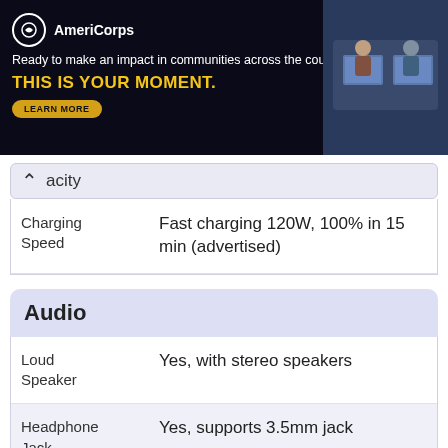[Figure (illustration): AmeriCorps advertisement banner: dark background with AmeriCorps logo, text 'Ready to make an impact in communities across the country?', bold yellow headline 'THIS IS YOUR MOMENT.', a LEARN MORE button, and a photo of people at computers on the right.]
acity
|  |  |
| --- | --- |
| Charging Speed | Fast charging 120W, 100% in 15 min (advertised) |
Audio
|  |  |
| --- | --- |
| Loud Speaker | Yes, with stereo speakers |
| Headphone Jack | Yes, supports 3.5mm jack |
| Special Features | 24-bit/192kHz audio |